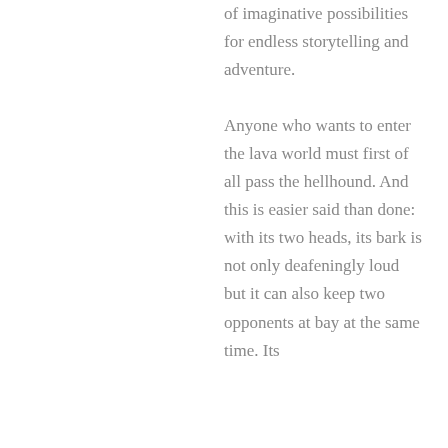of imaginative possibilities for endless storytelling and adventure.

Anyone who wants to enter the lava world must first of all pass the hellhound. And this is easier said than done: with its two heads, its bark is not only deafeningly loud but it can also keep two opponents at bay at the same time. Its